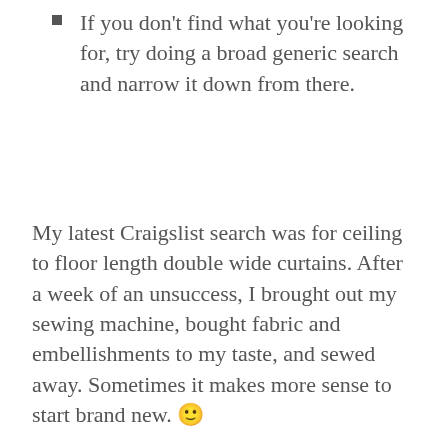If you don't find what you're looking for, try doing a broad generic search and narrow it down from there.
My latest Craigslist search was for ceiling to floor length double wide curtains. After a week of an unsuccess, I brought out my sewing machine, bought fabric and embellishments to my taste, and sewed away. Sometimes it makes more sense to start brand new. 🙂
POST VIEWS: 23,781
Tags